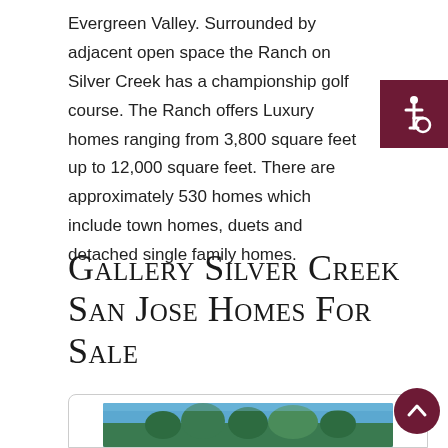Evergreen Valley. Surrounded by adjacent open space the Ranch on Silver Creek has a championship golf course. The Ranch offers Luxury homes ranging from 3,800 square feet up to 12,000 square feet. There are approximately 530 homes which include town homes, duets and detached single family homes.
[Figure (other): Dark burgundy/maroon accessibility icon badge in upper right corner showing wheelchair accessibility symbol in white on dark red background]
Gallery Silver Creek San Jose Homes For Sale
[Figure (photo): Partial view of a property photo card with rounded top border, showing trees and sky at the bottom of the page]